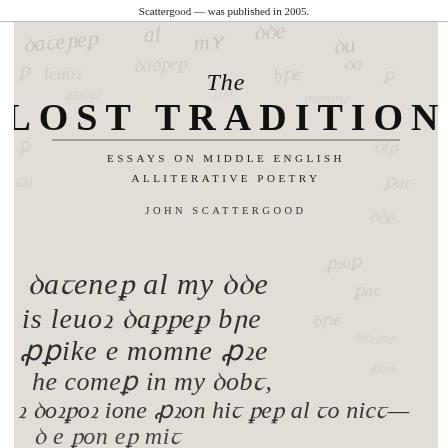Scattergood — was published in 2005.
[Figure (photo): Book cover of 'The Lost Tradition: Essays on Middle English Alliterative Poetry' by John Scattergood. The cover features a light grey/cream background with faint manuscript script watermarked throughout, and larger medieval handwriting script visible in the lower portion of the cover. The title area shows 'The' in italic, 'LOST TRADITION' in large bold spaced capitals, a horizontal rule, 'ESSAYS ON MIDDLE ENGLISH ALLITERATIVE POETRY' in small spaced caps, and 'JOHN SCATTERGOOD' in spaced capitals.]